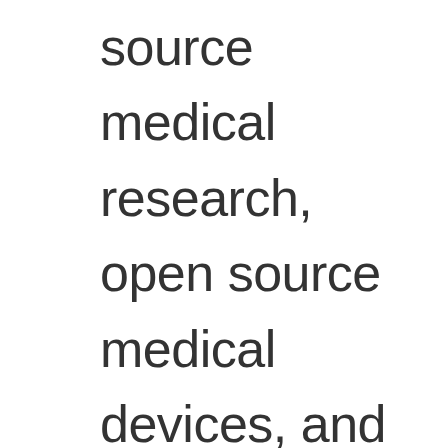source medical research, open source medical devices, and medical skillshares.